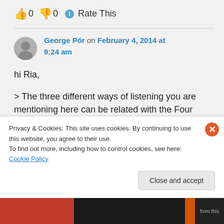👍 0 👎 0 ℹ Rate This
George Pór on February 4, 2014 at 9:24 am
hi Ria,
> The three different ways of listening you are mentioning here can be related with the Four levels of Listening and Conversation that
Privacy & Cookies: This site uses cookies. By continuing to use this website, you agree to their use.
To find out more, including how to control cookies, see here: Cookie Policy
Close and accept